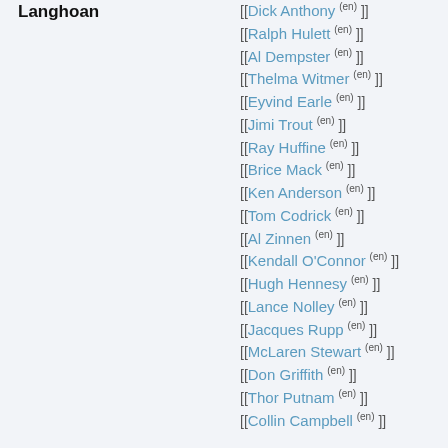Langhoan
[[ Dick Anthony (en) ]]
[[ Ralph Hulett (en) ]]
[[ Al Dempster (en) ]]
[[ Thelma Witmer (en) ]]
[[ Eyvind Earle (en) ]]
[[ Jimi Trout (en) ]]
[[ Ray Huffine (en) ]]
[[ Brice Mack (en) ]]
[[ Ken Anderson (en) ]]
[[ Tom Codrick (en) ]]
[[ Al Zinnen (en) ]]
[[ Kendall O'Connor (en) ]]
[[ Hugh Hennesy (en) ]]
[[ Lance Nolley (en) ]]
[[ Jacques Rupp (en) ]]
[[ McLaren Stewart (en) ]]
[[ Don Griffith (en) ]]
[[ Thor Putnam (en) ]]
[[ Collin Campbell (en) ]]